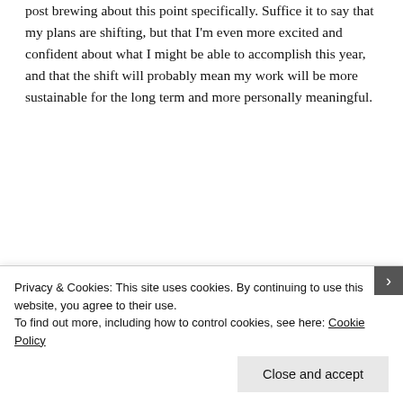post brewing about this point specifically. Suffice it to say that my plans are shifting, but that I'm even more excited and confident about what I might be able to accomplish this year, and that the shift will probably mean my work will be more sustainable for the long term and more personally meaningful.
[Figure (illustration): Red advertisement banner with white serif text reading 'The best stories on the web – ours, and everyone else's.' and a black 'Start reading' button. The banner has darker red vertical stripes on the left and right edges.]
Privacy & Cookies: This site uses cookies. By continuing to use this website, you agree to their use.
To find out more, including how to control cookies, see here: Cookie Policy
Close and accept